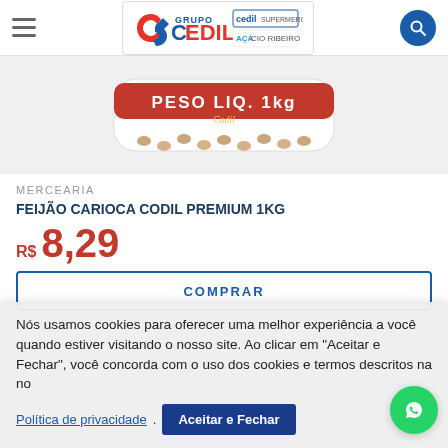[Figure (logo): Grupo Cedil logo with hamburger menu on the left and search icon on the right]
[Figure (photo): Product image: Feijão Carioca Codil Premium 1kg bag, red packaging with white text PESO LIQ. 1kg]
MERCEARIA
FEIJÃO CARIOCA CODIL PREMIUM 1KG
R$ 8,29
COMPRAR
Nós usamos cookies para oferecer uma melhor experiência a você quando estiver visitando o nosso site. Ao clicar em "Aceitar e Fechar", você concorda com o uso dos cookies e termos descritos na no
Política de privacidade
Aceitar e Fechar